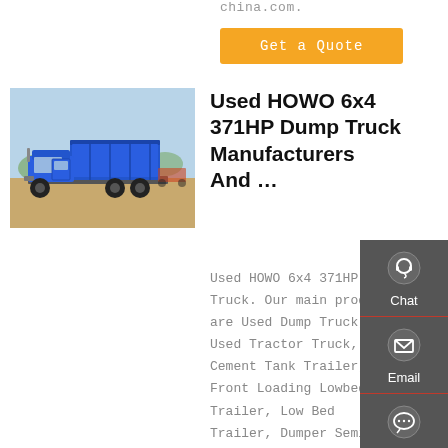china.com.
Get a Quote
[Figure (photo): Blue HOWO 6x4 dump truck parked on dirt ground with trees and sky in background]
Used HOWO 6x4 371HP Dump Truck Manufacturers And …
Used HOWO 6x4 371HP Dump Truck. Our main products are Used Dump Truck, Used Tractor Truck, Cement Tank Trailer, Front Loading Lowbed Trailer, Low Bed Trailer, Dumper Semi